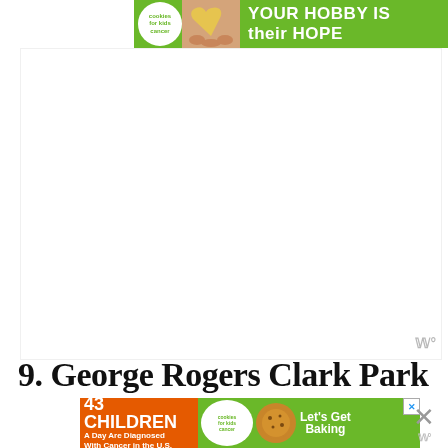[Figure (other): Advertisement banner at top: green background with 'cookies for kids cancer' logo (white circle), image of hands holding a heart-shaped cookie, and text 'your HOBBY is their HOPE' in white bold text. Close button (X) at top right.]
[Figure (other): Large white blank content area with a grey watermark/logo in the bottom right corner.]
9. George Rogers Clark Park
[Figure (other): Advertisement banner at bottom: left section orange background with '43 CHILDREN A Day Are Diagnosed With Cancer in the U.S.' text; center 'cookies for kids cancer' logo (white circle on green); cookie image; right section 'Let's Get Baking' text on green. Close buttons on right.]